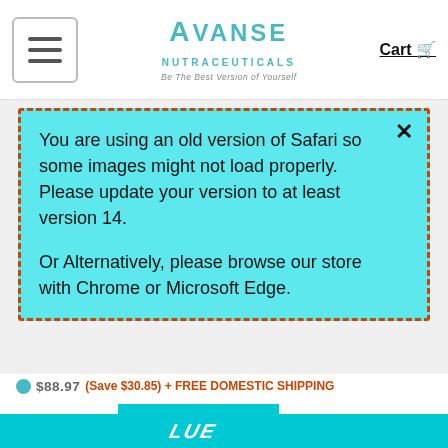[Figure (logo): Avanse Nutraceuticals logo with tagline 'Be The Best Version of Yourself']
You are using an old version of Safari so some images might not load properly. Please update your version to at least version 14.

Or Alternatively, please browse our store with Chrome or Microsoft Edge.
$88.97 (Save $30.85) + FREE DOMESTIC SHIPPING
ADD TO CART  In Stock Now
LUE